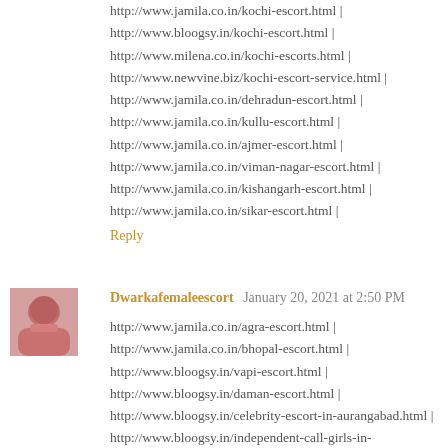http://www.jamila.co.in/kochi-escort.html | http://www.bloogsy.in/kochi-escort.html | http://www.milena.co.in/kochi-escorts.html | http://www.newvine.biz/kochi-escort-service.html | http://www.jamila.co.in/dehradun-escort.html | http://www.jamila.co.in/kullu-escort.html | http://www.jamila.co.in/ajmer-escort.html | http://www.jamila.co.in/viman-nagar-escort.html | http://www.jamila.co.in/kishangarh-escort.html | http://www.jamila.co.in/sikar-escort.html |
Reply
[Figure (photo): Avatar thumbnail of a woman in pink top]
Dwarkafemaleescort  January 20, 2021 at 2:50 PM
http://www.jamila.co.in/agra-escort.html | http://www.jamila.co.in/bhopal-escort.html | http://www.bloogsy.in/vapi-escort.html | http://www.bloogsy.in/daman-escort.html | http://www.bloogsy.in/celebrity-escort-in-aurangabad.html | http://www.bloogsy.in/independent-call-girls-in-aurangabad.html |
Reply